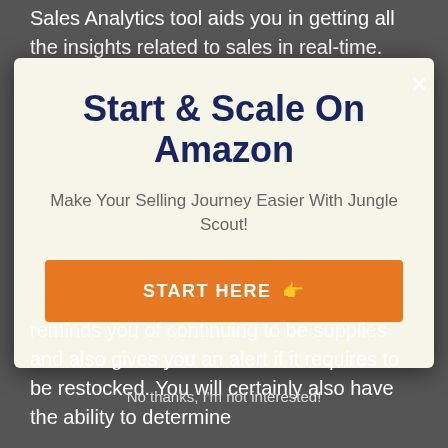Sales Analytics tool aids you in getting all the insights related to sales in real-time. This tool assists you in analyzing historic, cost break down,
[Figure (screenshot): Modal popup with title 'Start & Scale On Amazon', subtitle 'Make Your Selling Journey Easier With Jungle Scout!', and an orange CTA button labeled 'START HERE 👉']
reminds you of continuing to be supplies and also gives you an alert if it requires to be restocked. You will certainly also have the ability to determine